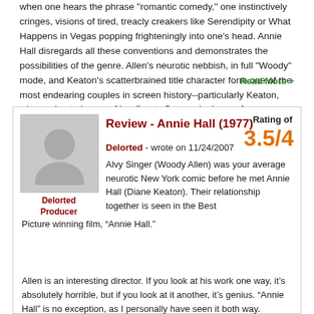when one hears the phrase "romantic comedy," one instinctively cringes, visions of tired, treacly creakers like Serendipity or What Happens in Vegas popping frighteningly into one's head. Annie Hall disregards all these conventions and demonstrates the possibilities of the genre. Allen's neurotic nebbish, in full "Woody" mode, and Keaton's scatterbrained title character form one of the most endearing couples in screen history--particularly Keaton, who enchants in one of her finest, Oscar-winning performances. The film …
Read More +
Review - Annie Hall (1977)
Rating of 3.5/4
Delorted - wrote on 11/24/2007
Alvy Singer (Woody Allen) was your average neurotic New York comic before he met Annie Hall (Diane Keaton). Their relationship together is seen in the Best Picture winning film, “Annie Hall.”
Allen is an interesting director. If you look at his work one way, it’s absolutely horrible, but if you look at it another, it’s genius. “Annie Hall” is no exception, as I personally have seen it both way.
This film is almost like watching a stage play, but it’s done in a way that could only work on film. While watching, you feel like you’re right there in their